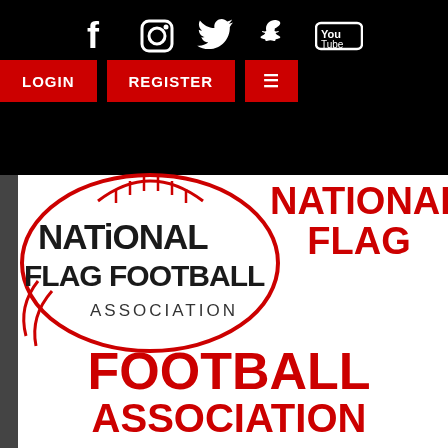[Figure (screenshot): Website navigation bar with social media icons (Facebook, Instagram, Twitter, Snapchat, YouTube) and red LOGIN, REGISTER, and hamburger menu buttons on black background]
[Figure (logo): National Flag Football Association logo: football shape with red laces, text 'NATIONAL FLAG FOOTBALL ASSOCIATION' in black]
NATIONAL FLAG FOOTBALL ASSOCIATION